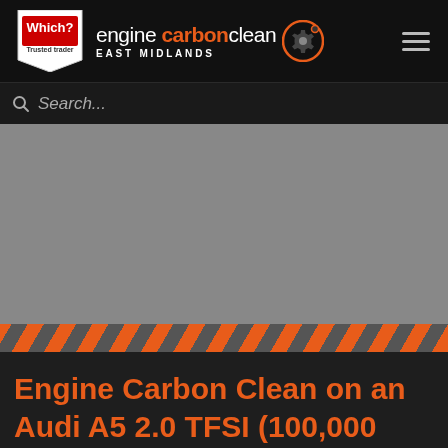[Figure (logo): Engine Carbon Clean East Midlands website header with Which? Trusted Trader badge, engine carbon clean logo with gear icon, and hamburger menu]
Search...
[Figure (photo): Gray placeholder hero image area]
[Figure (illustration): Orange and gray diagonal hazard stripe band]
Engine Carbon Clean on an Audi A5 2.0 TFSI (100,000